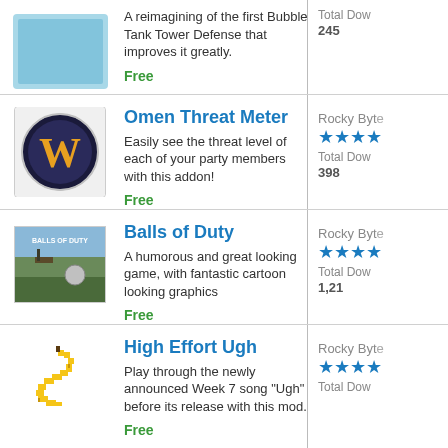A reimagining of the first Bubble Tank Tower Defense that improves it greatly.
Free
Total Downloads: 245
Omen Threat Meter
Easily see the threat level of each of your party members with this addon!
Free
Rocky Bytes
Total Downloads: 398
Balls of Duty
A humorous and great looking game, with fantastic cartoon looking graphics
Free
Rocky Bytes
Total Downloads: 1,21
High Effort Ugh
Play through the newly announced Week 7 song "Ugh" before its release with this mod.
Free
Rocky Bytes
Total Downloads